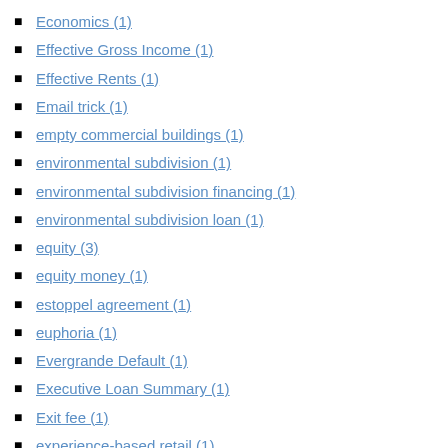Economics (1)
Effective Gross Income (1)
Effective Rents (1)
Email trick (1)
empty commercial buildings (1)
environmental subdivision (1)
environmental subdivision financing (1)
environmental subdivision loan (1)
equity (3)
equity money (1)
estoppel agreement (1)
euphoria (1)
Evergrande Default (1)
Executive Loan Summary (1)
Exit fee (1)
experience-based retail (1)